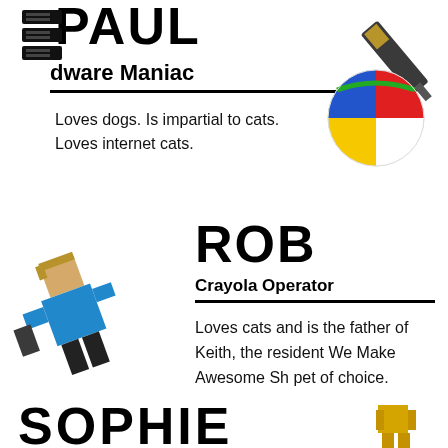PAUL
Hardware Maniac
[Figure (illustration): Pixel art icon of a computer/server stack on the left side near PAUL name]
[Figure (illustration): Beach ball and screwdriver/tool in top right corner]
Loves dogs. Is impartial to cats. Loves internet cats.
[Figure (illustration): Pixel art character in blue shirt - Rob avatar on the left]
ROB
Crayola Operator
Loves cats and is the father of Keith, the resident We Make Awesome Sh pet of choice.
SOPHIE
[Figure (illustration): Pixel art golden character in bottom right corner]